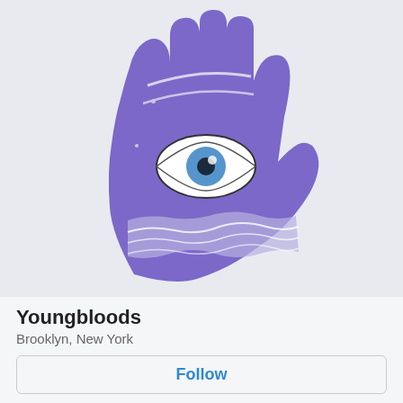[Figure (logo): Purple hamsa hand illustration with an eye in the center and wavy water lines at the base, on a light grey background]
Youngbloods
Brooklyn, New York
Follow
Leftfield downtempo music on new & archaic mediums, est. Brooklyn 2014
SoundCloud